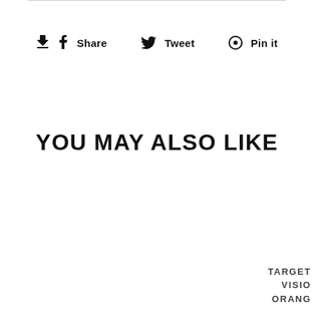Share  Tweet  Pin it
YOU MAY ALSO LIKE
TARGET
VISION
ORANGE